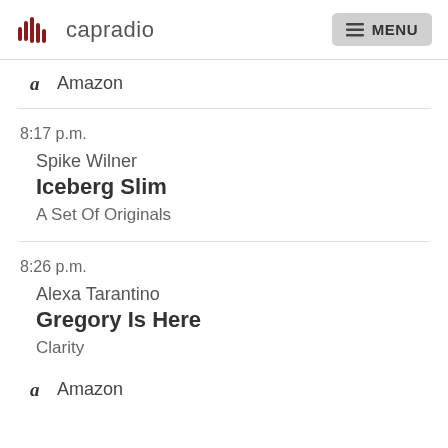capradio  MENU
Amazon
8:17 p.m.
Spike Wilner
Iceberg Slim
A Set Of Originals
8:26 p.m.
Alexa Tarantino
Gregory Is Here
Clarity
Amazon